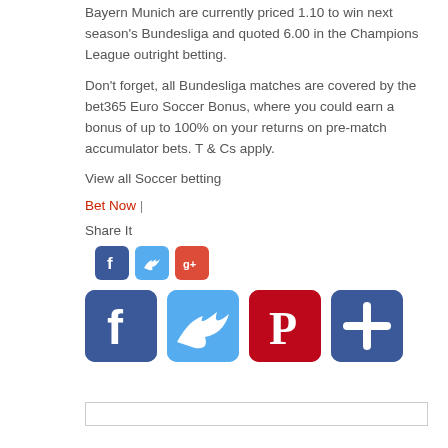Bayern Munich are currently priced 1.10 to win next season's Bundesliga and quoted 6.00 in the Champions League outright betting.
Don't forget, all Bundesliga matches are covered by the bet365 Euro Soccer Bonus, where you could earn a bonus of up to 100% on your returns on pre-match accumulator bets. T & Cs apply.
View all Soccer betting
Bet Now |
Share It
[Figure (infographic): Small social media sharing icons: Facebook, Twitter, Google+]
[Figure (infographic): Large social media sharing icons: Facebook, Twitter, Pinterest, Plus/More]